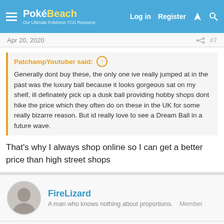PokéBeach — Log in | Register
Apr 20, 2020  #7
PatchampYoutuber said: Generally dont buy these, the only one ive really jumped at in the past was the luxury ball because it looks gorgeous sat on my shelf, ill definately pick up a dusk ball providing hobby shops dont hike the price which they often do on these in the UK for some really bizarre reason. But id really love to see a Dream Ball in a future wave.
That's why I always shop online so I can get a better price than high street shops
FireLizard — A man who knows nothing about proportions.  Member
Apr 21, 2020  #8
There will be Dark and Psychic cards I hope